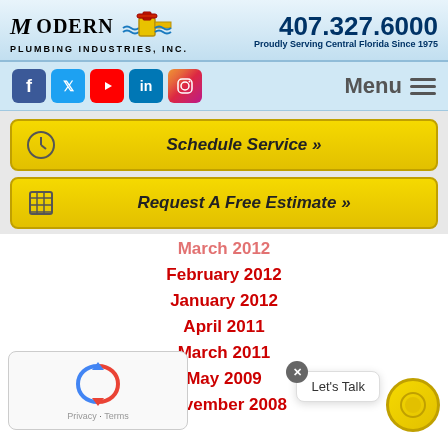[Figure (logo): Modern Plumbing Industries Inc. logo with pipe fitting icon]
407.327.6000
Proudly Serving Central Florida Since 1975
[Figure (infographic): Social media icons: Facebook, Twitter, YouTube, LinkedIn, Instagram]
Menu
Schedule Service »
Request A Free Estimate »
March 2012
February 2012
January 2012
April 2011
March 2011
May 2009
November 2008
Privacy · Terms
Let's Talk